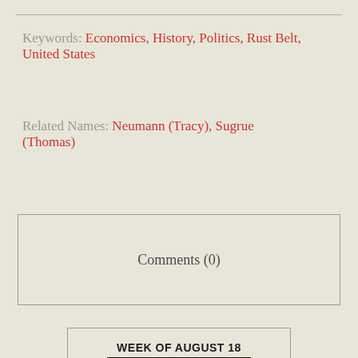Keywords: Economics, History, Politics, Rust Belt, United States
Related Names: Neumann (Tracy), Sugrue (Thomas)
Comments (0)
WEEK OF AUGUST 18